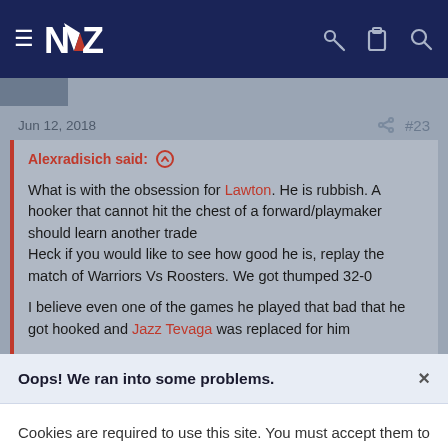NZ Warriors forum navigation bar with hamburger menu, NVZ logo, key, clipboard, and search icons
Jun 12, 2018   #23
Alexradisich said: ↑

What is with the obsession for Lawton. He is rubbish. A hooker that cannot hit the chest of a forward/playmaker should learn another trade
Heck if you would like to see how good he is, replay the match of Warriors Vs Roosters. We got thumped 32-0

I believe even one of the games he played that bad that he got hooked and Jazz Tevaga was replaced for him
Oops! We ran into some problems. ×
Cookies are required to use this site. You must accept them to continue using the site.